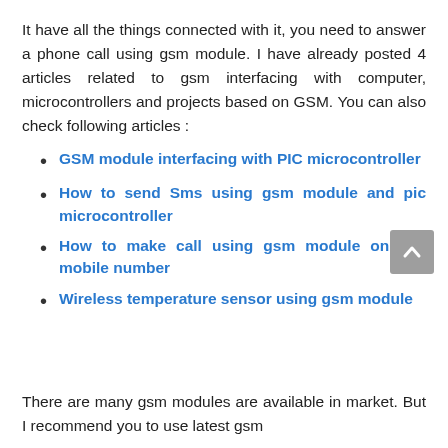It have all the things connected with it, you need to answer a phone call using gsm module. I have already posted 4 articles related to gsm interfacing with computer, microcontrollers and projects based on GSM. You can also check following articles :
GSM module interfacing with PIC microcontroller
How to send Sms using gsm module and pic microcontroller
How to make call using gsm module on any mobile number
Wireless temperature sensor using gsm module
There are many gsm modules are available in market. But I recommend you to use latest gsm